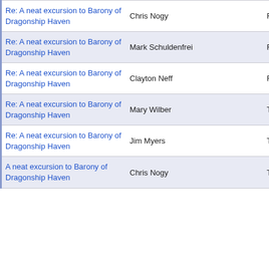| Subject | Author | Date |
| --- | --- | --- |
| Re: A neat excursion to Barony of Dragonship Haven | Chris Nogy | Fri, 20 |
| Re: A neat excursion to Barony of Dragonship Haven | Mark Schuldenfrei | Fri, 20 |
| Re: A neat excursion to Barony of Dragonship Haven | Clayton Neff | Fri, 20 |
| Re: A neat excursion to Barony of Dragonship Haven | Mary Wilber | Thu, 1 |
| Re: A neat excursion to Barony of Dragonship Haven | Jim Myers | Thu, 1 |
| A neat excursion to Barony of Dragonship Haven | Chris Nogy | Thu, 1 |